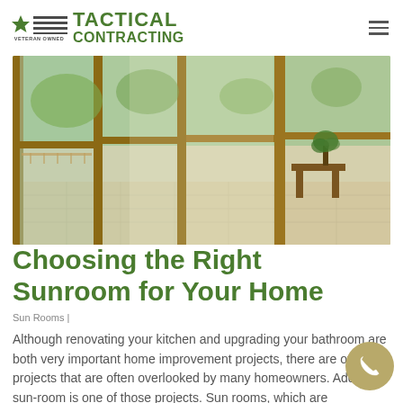TACTICAL CONTRACTING — VETERAN OWNED
[Figure (photo): Interior view of a sunroom with large wooden-framed glass windows and doors, looking out to a green garden. Natural light fills the space.]
Choosing the Right Sunroom for Your Home
Sun Rooms |
Although renovating your kitchen and upgrading your bathroom are both very important home improvement projects, there are other projects that are often overlooked by many homeowners. Adding a sun-room is one of those projects. Sun rooms, which are